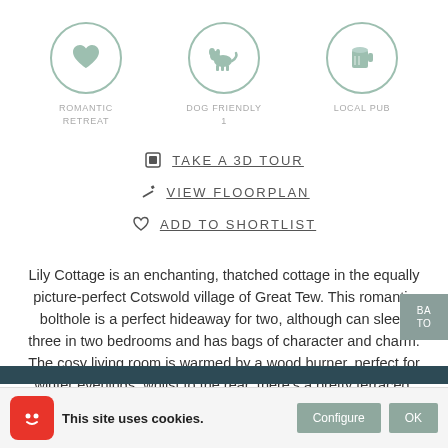[Figure (illustration): Three circular icons: heart (Romantic Retreat), dog (Dog Friendly, 1), beer mug (Local Pub)]
TAKE A 3D TOUR
VIEW FLOORPLAN
ADD TO SHORTLIST
Lily Cottage is an enchanting, thatched cottage in the equally picture-perfect Cotswold village of Great Tew. This romantic bolthole is a perfect hideaway for two, although can sleep three in two bedrooms and has bags of character and charm. The cosy living room is warmed by a wood burner, perfect for winter evenings, whilst to the rear, there's a pretty terraced, cottage garden where you while away summer evenings. Just steps from the
This site uses cookies.